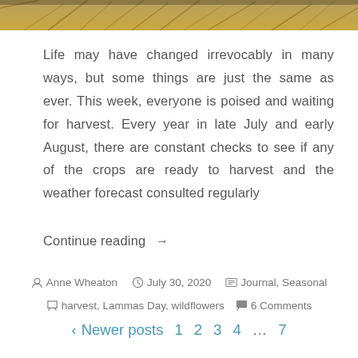[Figure (photo): Photograph of golden wheat/grain crops, used as a hero banner image at the top of the page.]
Life may have changed irrevocably in many ways, but some things are just the same as ever. This week, everyone is poised and waiting for harvest. Every year in late July and early August, there are constant checks to see if any of the crops are ready to harvest and the weather forecast consulted regularly
Continue reading →
Anne Wheaton   July 30, 2020   Journal, Seasonal
harvest, Lammas Day, wildflowers   6 Comments
‹ Newer posts   1   2   3   4   …   7